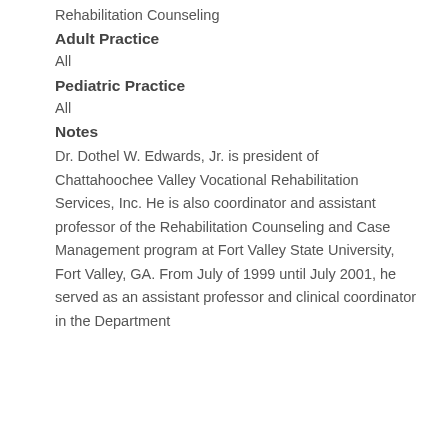Rehabilitation Counseling
Adult Practice
All
Pediatric Practice
All
Notes
Dr. Dothel W. Edwards, Jr. is president of Chattahoochee Valley Vocational Rehabilitation Services, Inc. He is also coordinator and assistant professor of the Rehabilitation Counseling and Case Management program at Fort Valley State University, Fort Valley, GA. From July of 1999 until July 2001, he served as an assistant professor and clinical coordinator in the Department